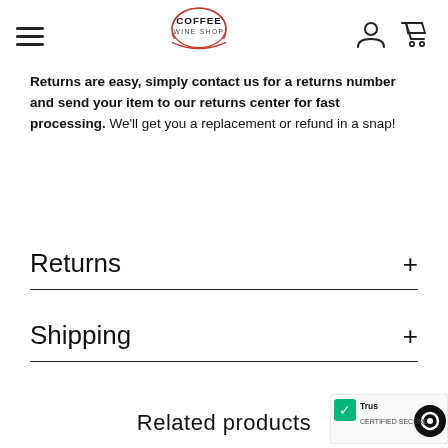COFFEE WINE SHOP
Returns are easy, simply contact us for a returns number and send your item to our returns center for fast processing. We'll get you a replacement or refund in a snap!
Returns
Shipping
Related products